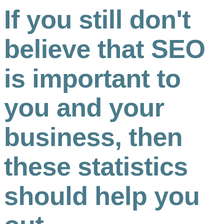If you still don't believe that SEO is important to you and your business, then these statistics should help you out.